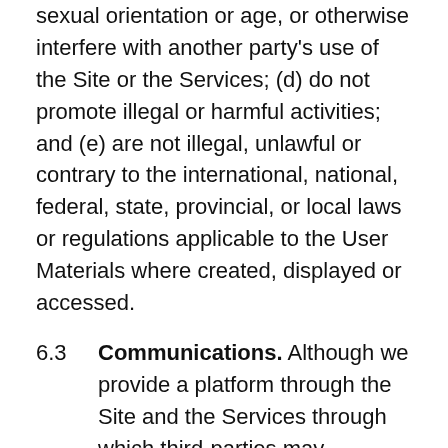sexual orientation or age, or otherwise interfere with another party's use of the Site or the Services; (d) do not promote illegal or harmful activities; and (e) are not illegal, unlawful or contrary to the international, national, federal, state, provincial, or local laws or regulations applicable to the User Materials where created, displayed or accessed.
6.3 Communications. Although we provide a platform through the Site and the Services through which third-parties may communicate, Company is not involved in those third-party communications and is not responsible or liable under any circumstances for the content of any third-party communications, or for any absence of communications by a third-party. The contents of such third-party communications are determined